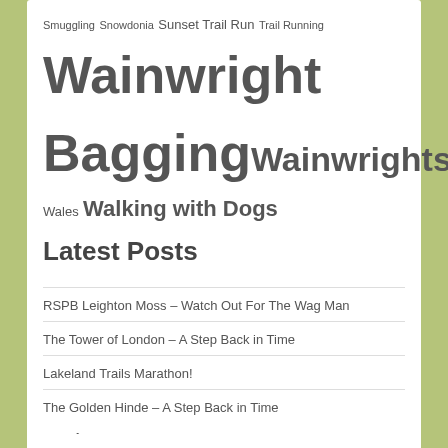Smuggling Snowdonia Sunset Trail Run Trail Running Wainwright Bagging Wainwrights Wales Walking with Dogs Walking with Kids Walks with Children Waterfall Whitby Wildlife Woodland Walk Yoke
Latest Posts
RSPB Leighton Moss – Watch Out For The Wag Man
The Tower of London – A Step Back in Time
Lakeland Trails Marathon!
The Golden Hinde – A Step Back in Time